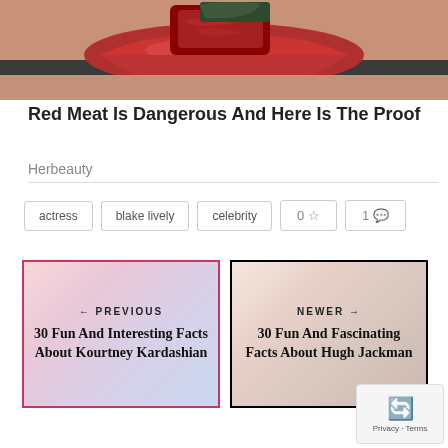[Figure (photo): Close-up photo of lips with red lipstick biting into a piece of red meat with dark garnish]
Red Meat Is Dangerous And Here Is The Proof
Herbeauty
actress
blake lively
celebrity
0 ☆
1 💬
[Figure (screenshot): Navigation card: PREVIOUS - 30 Fun And Interesting Facts About Kourtney Kardashian]
[Figure (screenshot): Navigation card: NEWER - 30 Fun And Fascinating Facts About Hugh Jackman]